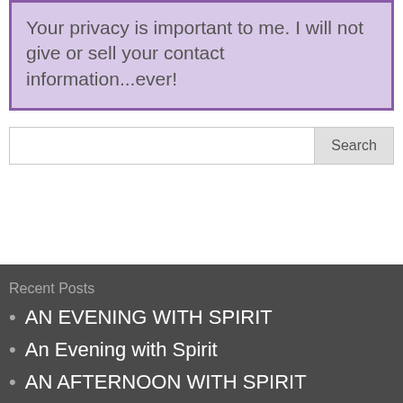Your privacy is important to me. I will not give or sell your contact information...ever!
[Figure (other): Search input box with Search button]
Recent Posts
AN EVENING WITH SPIRIT
An Evening with Spirit
AN AFTERNOON WITH SPIRIT